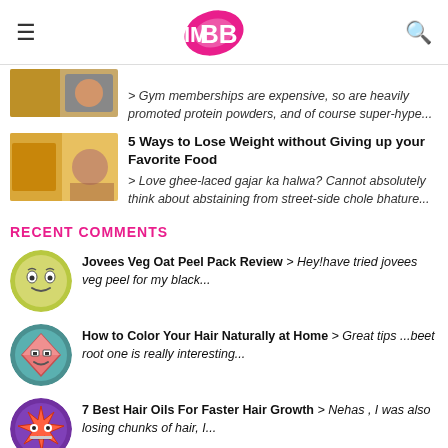IMBB
[Figure (illustration): Partial article thumbnail (cut off at top)]
> Gym memberships are expensive, so are heavily promoted protein powders, and of course super-hype...
[Figure (photo): Article thumbnail for 5 Ways to Lose Weight without Giving up your Favorite Food]
5 Ways to Lose Weight without Giving up your Favorite Food
> Love ghee-laced gajar ka halwa? Cannot absolutely think about abstaining from street-side chole bhature...
RECENT COMMENTS
[Figure (illustration): Avatar icon for comment - cartoon face]
Jovees Veg Oat Peel Pack Review > Hey!have tried jovees veg peel for my black...
[Figure (illustration): Avatar icon for comment - cartoon diamond shape character]
How to Color Your Hair Naturally at Home > Great tips ...beet root one is really interesting...
[Figure (illustration): Avatar icon for comment - cartoon angry face purple]
7 Best Hair Oils For Faster Hair Growth > Nehas , I was also losing chunks of hair, I...